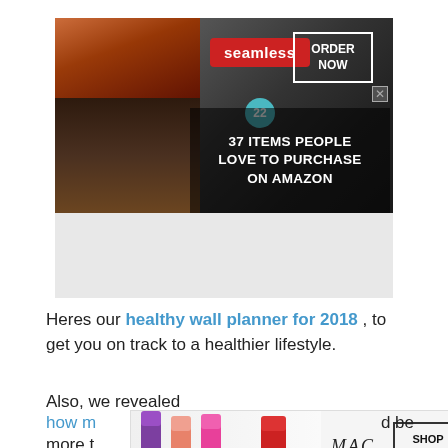[Figure (screenshot): Seamless food delivery advertisement banner with pizza and kitchen knives imagery. Red Seamless logo, ORDER NOW button, badge showing '22', text: 37 ITEMS PEOPLE LOVE TO PURCHASE ON AMAZON]
Heres our healthy wall planner for 2018 , to get you on track to a healthier lifestyle.
Also, we revealed
[Figure (screenshot): MAC cosmetics advertisement banner showing lipsticks in purple, pink and red. MAC logo and SHOP NOW button.]
how m
d be
more t